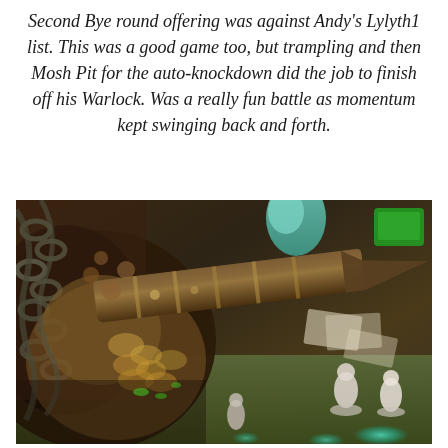Second Bye round offering was against Andy's Lylyth1 list. This was a good game too, but trampling and then Mosh Pit for the auto-knockdown did the job to finish off his Warlock. Was a really fun battle as momentum kept swinging back and forth.
[Figure (photo): A close-up photo of a large tabletop wargame miniature, likely a Hordes/Warmachine beast, showing a heavily detailed creature with chains and a large weapon/arm pointed to the right. Several smaller white/grey miniatures are visible on a green gaming mat in the background, along with teal glowing bases, scattered game cards, and a green device in the upper right corner.]